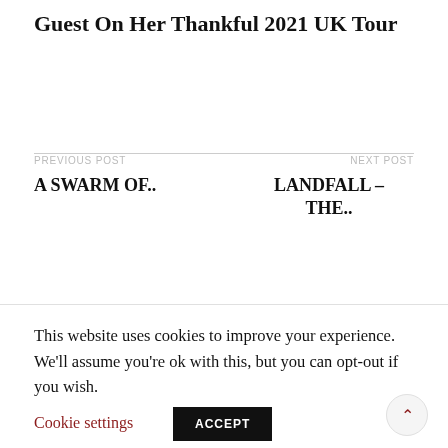Guest On Her Thankful 2021 UK Tour
PREVIOUS POST
A SWARM OF..
NEXT POST
LANDFALL – THE..
This website uses cookies to improve your experience. We'll assume you're ok with this, but you can opt-out if you wish.
Cookie settings
ACCEPT